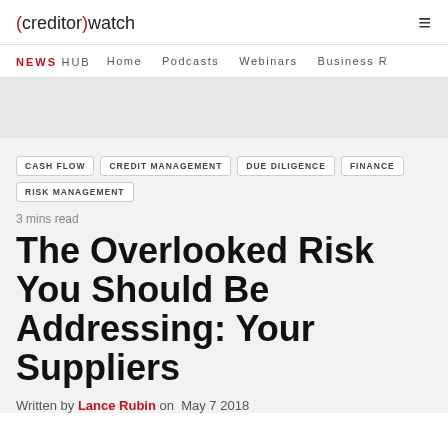(creditor)watch
NEWS HUB   Home   Podcasts   Webinars   Business R
CASH FLOW
CREDIT MANAGEMENT
DUE DILIGENCE
FINANCE
RISK MANAGEMENT
3 mins read
The Overlooked Risk You Should Be Addressing: Your Suppliers
Written by Lance Rubin on  May 7 2018